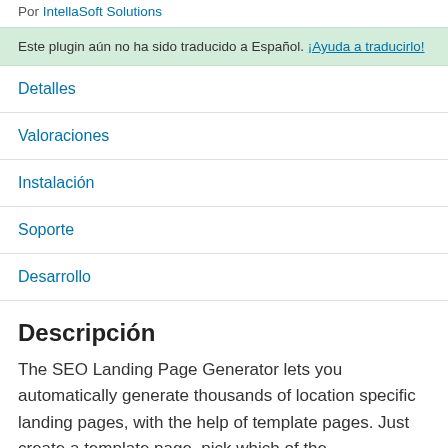Por IntellaSoft Solutions
Este plugin aún no ha sido traducido a Español. ¡Ayuda a traducirlo!
Detalles
Valoraciones
Instalación
Soporte
Desarrollo
Descripción
The SEO Landing Page Generator lets you automatically generate thousands of location specific landing pages, with the help of template pages. Just create a template page, pick which of the